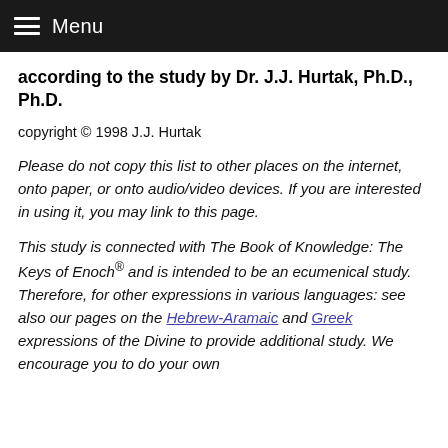Menu
according to the study by Dr. J.J. Hurtak, Ph.D., Ph.D.
copyright © 1998 J.J. Hurtak
Please do not copy this list to other places on the internet, onto paper, or onto audio/video devices. If you are interested in using it, you may link to this page.
This study is connected with The Book of Knowledge: The Keys of Enoch® and is intended to be an ecumenical study. Therefore, for other expressions in various languages: see also our pages on the Hebrew-Aramaic and Greek expressions of the Divine to provide additional study. We encourage you to do your own